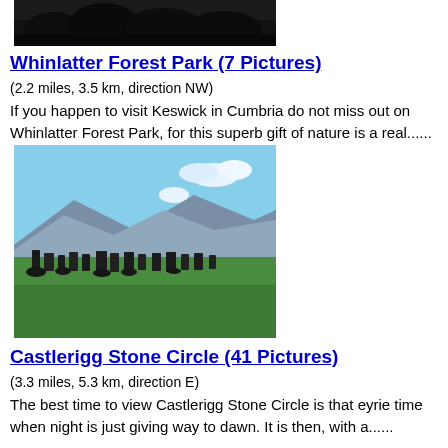[Figure (photo): Top portion of a dark forest photo, partially cut off at top of page]
Whinlatter Forest Park (7 Pictures)
(2.2 miles, 3.5 km, direction NW)
If you happen to visit Keswick in Cumbria do not miss out on Whinlatter Forest Park, for this superb gift of nature is a real......
[Figure (photo): Castlerigg Stone Circle with standing stones on green grass, mountains and blue sky in background]
Castlerigg Stone Circle (41 Pictures)
(3.3 miles, 5.3 km, direction E)
The best time to view Castlerigg Stone Circle is that eyrie time when night is just giving way to dawn. It is then, with a......
[Figure (photo): Partial photo of a building or structure through trees, cut off at bottom of page]